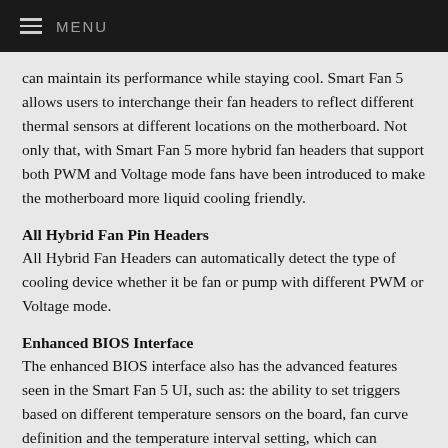MENU
can maintain its performance while staying cool. Smart Fan 5 allows users to interchange their fan headers to reflect different thermal sensors at different locations on the motherboard. Not only that, with Smart Fan 5 more hybrid fan headers that support both PWM and Voltage mode fans have been introduced to make the motherboard more liquid cooling friendly.
All Hybrid Fan Pin Headers
All Hybrid Fan Headers can automatically detect the type of cooling device whether it be fan or pump with different PWM or Voltage mode.
Enhanced BIOS Interface
The enhanced BIOS interface also has the advanced features seen in the Smart Fan 5 UI, such as: the ability to set triggers based on different temperature sensors on the board, fan curve definition and the temperature interval setting, which can prevent fan rotation noise caused by sudden temperature change—all without having to load Windows.